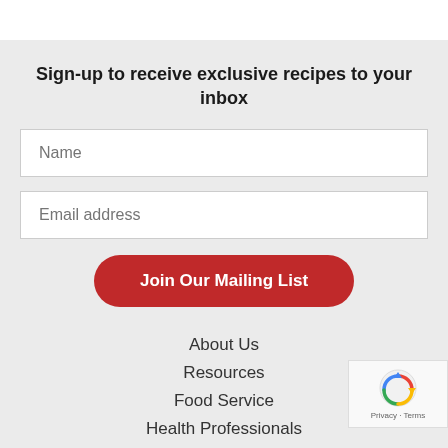Sign-up to receive exclusive recipes to your inbox
Name
Email address
Join Our Mailing List
About Us
Resources
Food Service
Health Professionals
[Figure (logo): reCAPTCHA badge with Google logo and Privacy - Terms text]